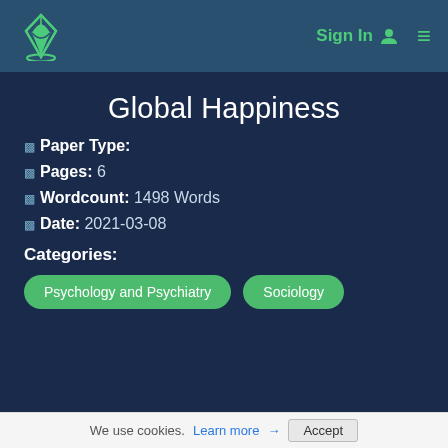Sign In  ≡
Global Happiness
Paper Type:
Pages: 6
Wordcount: 1498 Words
Date: 2021-03-08
Categories:
Psychology and Psychiatry   Sociology
We use cookies. Learn more → Accept